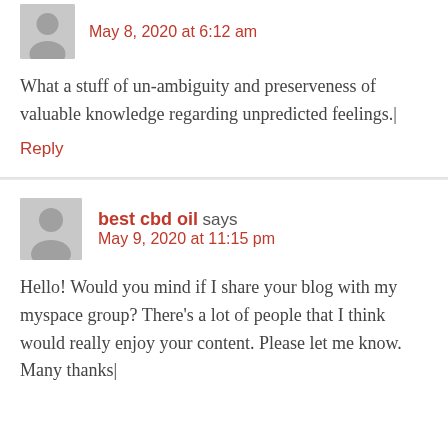May 8, 2020 at 6:12 am
What a stuff of un-ambiguity and preserveness of valuable knowledge regarding unpredicted feelings.|
Reply
best cbd oil says
May 9, 2020 at 11:15 pm
Hello! Would you mind if I share your blog with my myspace group? There’s a lot of people that I think would really enjoy your content. Please let me know. Many thanks|